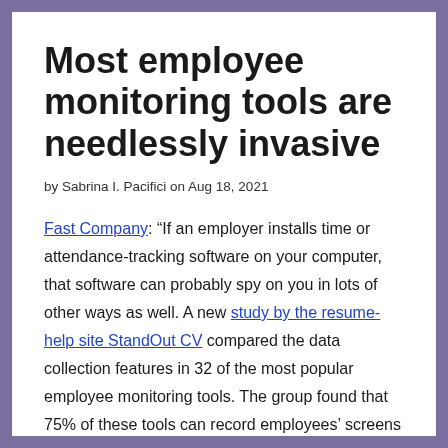Most employee monitoring tools are needlessly invasive
by Sabrina I. Pacifici on Aug 18, 2021
Fast Company: “If an employer installs time or attendance-tracking software on your computer, that software can probably spy on you in lots of other ways as well. A new study by the resume-help site StandOut CV compared the data collection features in 32 of the most popular employee monitoring tools. The group found that 75% of these tools can record employees’ screens and monitor which apps or websites they’re using, while 59% can monitor keyboard and mouse